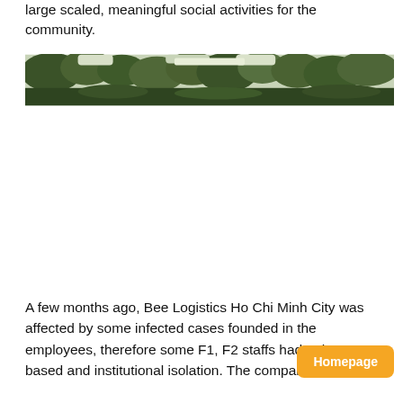large scaled, meaningful social activities for the community.
[Figure (photo): A wide panoramic photo showing trees and outdoor scenery, appears to be a nature or park setting with green foliage.]
A few months ago, Bee Logistics Ho Chi Minh City was affected by some infected cases founded in the employees, therefore some F1, F2 staffs had to home-based and institutional isolation. The company